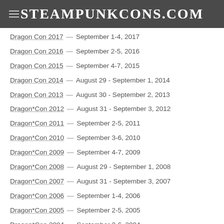SteampunkCons.com
Dragon Con 2017 — September 1-4, 2017
Dragon Con 2016 — September 2-5, 2016
Dragon Con 2015 — September 4-7, 2015
Dragon Con 2014 — August 29 - September 1, 2014
Dragon Con 2013 — August 30 - September 2, 2013
Dragon*Con 2012 — August 31 - September 3, 2012
Dragon*Con 2011 — September 2-5, 2011
Dragon*Con 2010 — September 3-6, 2010
Dragon*Con 2009 — September 4-7, 2009
Dragon*Con 2008 — August 29 - September 1, 2008
Dragon*Con 2007 — August 31 - September 3, 2007
Dragon*Con 2006 — September 1-4, 2006
Dragon*Con 2005 — September 2-5, 2005
Dragon*Con 2004 — September 3-6, 2004
Dragon*Con 2003 — August 29 - September 1, 2003
Dragon*Con 2002 — August 30 - September 2, 2002
Dragon*Con 2001 — August 31 - September 3, 2001